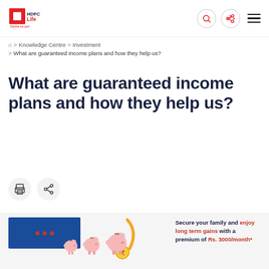HDFC Life — Saritha ke jiyo!
Home > Knowledge Centre > Investment > What are guaranteed income plans and how they help us?
What are guaranteed income plans and how they help us?
[Figure (illustration): Print and share action buttons (circular icon buttons)]
[Figure (illustration): HDFC Life promotional banner: piggy banks illustration with text 'Secure your family and enjoy long term gains with a premium of Rs. 3000/month*']